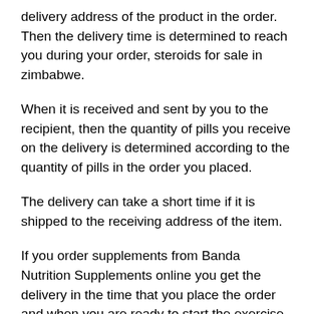delivery address of the product in the order. Then the delivery time is determined to reach you during your order, steroids for sale in zimbabwe.
When it is received and sent by you to the recipient, then the quantity of pills you receive on the delivery is determined according to the quantity of pills in the order you placed.
The delivery can take a short time if it is shipped to the receiving address of the item.
If you order supplements from Banda Nutrition Supplements online you get the delivery in the time that you place the order and when you are ready to start the exercise for the muscle building program then you will find out all the information which is required for the program to start, human growth